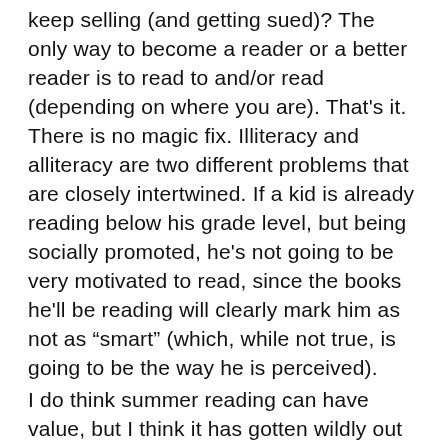keep selling (and getting sued)? The only way to become a reader or a better reader is to read to and/or read (depending on where you are). That's it. There is no magic fix. Illiteracy and alliteracy are two different problems that are closely intertwined. If a kid is already reading below his grade level, but being socially promoted, he's not going to be very motivated to read, since the books he'll be reading will clearly mark him as not as “smart” (which, while not true, is going to be the way he is perceived). I do think summer reading can have value, but I think it has gotten wildly out of control and doesn't serve its purpose the way we think it should, or could.